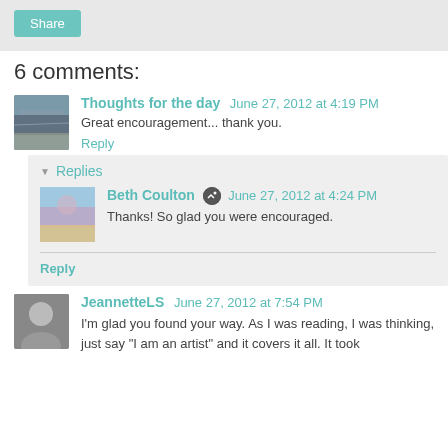Share
6 comments:
Thoughts for the day  June 27, 2012 at 4:19 PM
Great encouragement... thank you.
Reply
Replies
Beth Coulton  June 27, 2012 at 4:24 PM
Thanks! So glad you were encouraged.
Reply
JeannetteLS  June 27, 2012 at 7:54 PM
I'm glad you found your way. As I was reading, I was thinking, just say "I am an artist" and it covers it all. It took